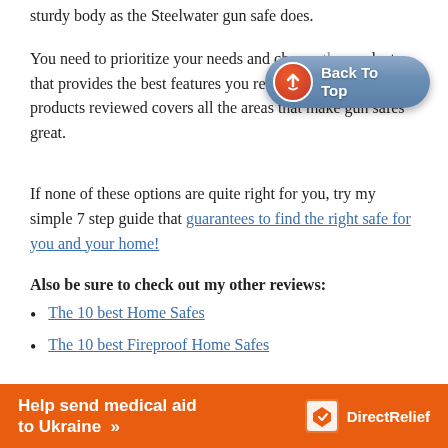sturdy body as the Steelwater gun safe does.
You need to prioritize your needs and choose the product that provides the best features you require. Besides, all the products reviewed covers all the areas that make gun safes great.
[Figure (other): Back To Top button — a blue pill-shaped button with a red circular arrow icon on the left and white bold text 'Back To Top' on the right]
If none of these options are quite right for you, try my simple 7 step guide that guarantees to find the right safe for you and your home!
Also be sure to check out my other reviews:
The 10 best Home Safes
The 10 best Fireproof Home Safes
[Figure (infographic): Orange banner ad reading 'Help send medical aid to Ukraine >>' with DirectRelief logo on the right]